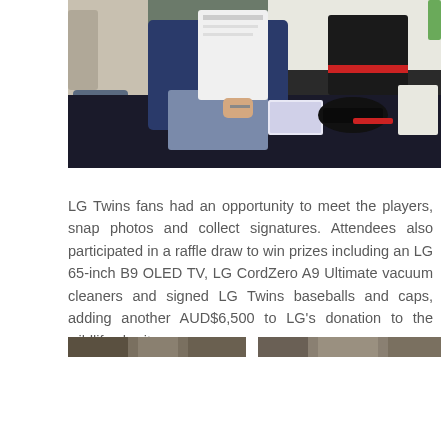[Figure (photo): People at a signing table event — LG Twins fan meet. Someone in a navy hoodie sits across from a person at a dark-clothed table, signing items. Various objects including a cap and a box are on the table.]
LG Twins fans had an opportunity to meet the players, snap photos and collect signatures. Attendees also participated in a raffle draw to win prizes including an LG 65-inch B9 OLED TV, LG CordZero A9 Ultimate vacuum cleaners and signed LG Twins baseballs and caps, adding another AUD$6,500 to LG's donation to the wildlife charity.
[Figure (photo): Two partial photo thumbnails visible at the bottom of the page, cropped — appear to be additional event photos.]